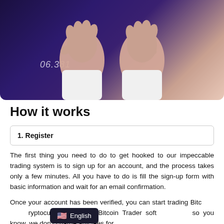[Figure (photo): Photo of a person in a white shirt with fists raised, against a dark purple background with a financial chart overlay. Number '06.381' visible.]
How it works
1. Register
The first thing you need to do to get hooked to our impeccable trading system is to sign up for an account, and the process takes only a few minutes. All you have to do is fill the sign-up form with basic information and wait for an email confirmation.
Once your account has been verified, you can start trading Bitcoins and cryptocurrencies using Bitcoin Trader software. And so you know, we don't charge any fees for